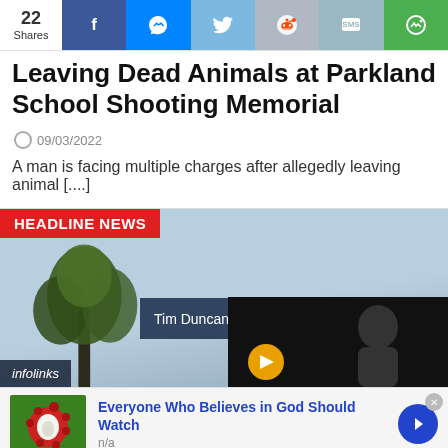22 Shares — Social share bar with Facebook, Messenger, Twitter, Reddit, SMS, Camera icons
Leaving Dead Animals at Parkland School Shooting Memorial
09/03/2022
A man is facing multiple charges after allegedly leaving animal [....]
[Figure (photo): Headline news banner with red HEADLINE NEWS label, outdoor sky/tree background, infolinks watermark, video popup overlay reading 'Tim Duncan tells the story of meeting ...' with close X button, and a dark video thumbnail at bottom right with a yellow/orange play badge.]
[Figure (infographic): Advertisement banner: image of rambutan fruit on left, bold blue text 'Everyone Who Believes in God Should Watch', gray 'n/a' subtext, blue circle arrow button on right, small X close button top right.]